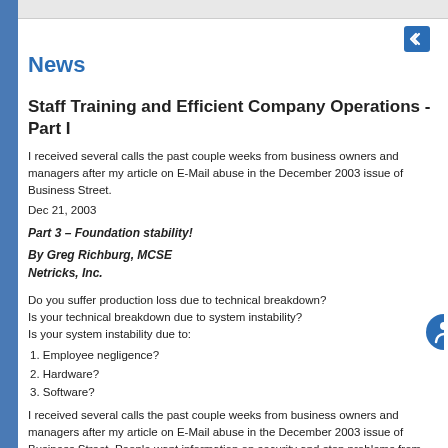News
Staff Training and Efficient Company Operations - Part I
I received several calls the past couple weeks from business owners and managers after my article on E-Mail abuse in the December 2003 issue of Business Street.
Dec 21, 2003
Part 3 – Foundation stability!
By Greg Richburg, MCSE
Netricks, Inc.
Do you suffer production loss due to technical breakdown?
Is your technical breakdown due to system instability?
Is your system instability due to:
1. Employee negligence?
2. Hardware?
3. Software?
I received several calls the past couple weeks from business owners and managers after my article on E-Mail abuse in the December 2003 issue of Business Street. People want information on security and stop problems from happening due to employee negligence and lac
Whose fault is it if they haven't been trained properly? Well let's not even go t